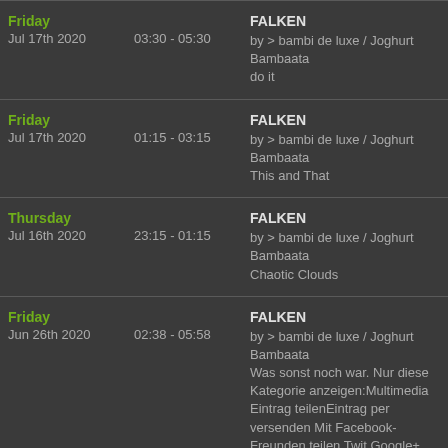| Date | Time | Show |
| --- | --- | --- |
| Friday
Jul 17th 2020 | 03:30 - 05:30 | FALKEN
by > bambi de luxe / Joghurt Bambaata
do it |
| Friday
Jul 17th 2020 | 01:15 - 03:15 | FALKEN
by > bambi de luxe / Joghurt Bambaata
This and That |
| Thursday
Jul 16th 2020 | 23:15 - 01:15 | FALKEN
by > bambi de luxe / Joghurt Bambaata
Chaotic Clouds |
| Friday
Jun 26th 2020 | 02:38 - 05:58 | FALKEN
by > bambi de luxe / Joghurt Bambaata
Was sonst noch war. Nur diese Kategorie anzeigen:Multimedia Eintrag teilenEintrag per versenden Mit Facebook-Freunden teilen Twit Google+ teilen
Jetzt lauschen: Folge 2 der 1. Welle |
| Friday
Jun 26th 2020 | 01:38 - 02:38 | FALKEN
by > bambi de luxe / Joghurt Bambaata
Bei der Ausleihe soll es sich um den Ratgeber lernen" gehandelt haben. |